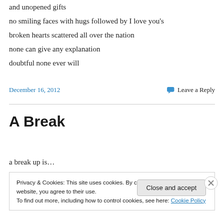and unopened gifts
no smiling faces with hugs followed by I love you's
broken hearts scattered all over the nation
none can give any explanation
doubtful none ever will
December 16, 2012    Leave a Reply
A Break
a break up is…
Privacy & Cookies: This site uses cookies. By continuing to use this website, you agree to their use.
To find out more, including how to control cookies, see here: Cookie Policy
Close and accept